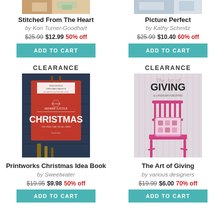[Figure (photo): Partial book cover image top left - crafts/stitching theme]
[Figure (photo): Partial book cover image top right - picture perfect theme]
Stitched From The Heart
by Kori Turner-Goodhart
$25.99 $12.99 50% off
ADD TO CART
Picture Perfect
by Kathy Schmitz
$25.99 $10.40 60% off
ADD TO CART
CLEARANCE
[Figure (photo): Printworks Christmas Idea Book cover - red banner with Merry Little Christmas text against blue wooden background]
Printworks Christmas Idea Book
by Sweetwater
$19.95 $9.98 50% off
ADD TO CART
CLEARANCE
[Figure (photo): The Art of Giving book cover - pink chair with decorative pillow]
The Art of Giving
by various designers
$19.99 $6.00 70% off
ADD TO CART